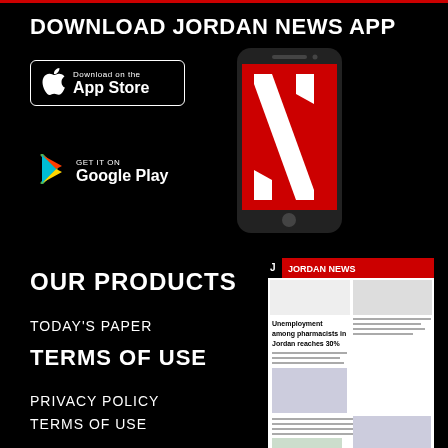DOWNLOAD JORDAN NEWS APP
[Figure (logo): App Store download button with Apple logo]
[Figure (logo): Google Play download button]
[Figure (photo): Smartphone displaying the Jordan News app with red N logo]
OUR PRODUCTS
TODAY'S PAPER
TERMS OF USE
[Figure (photo): Jordan News newspaper front page showing headline: Unemployment among pharmacists in Jordan reaches 30%]
PRIVACY POLICY
TERMS OF USE
CODE OF CONDUCT
CONTACT US